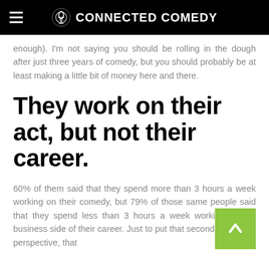CONNECTED COMEDY
enough). I'm not saying you should be rolling in the dough after just three years of comedy, but you should probably be at least making a little bit of money here and there.
They work on their act, but not their career.
60% of them said that they spend more than 3 hours a week working on their comedy, but 79% of those same people said that they spend less than 3 hours a week working on the business side of their career. Just to put that second number in perspective, that